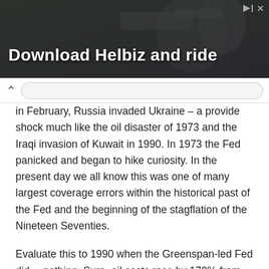[Figure (photo): Advertisement banner with dark background showing camera equipment and text 'Download Helbiz and ride']
in February, Russia invaded Ukraine – a provide shock much like the oil disaster of 1973 and the Iraqi invasion of Kuwait in 1990. In 1973 the Fed panicked and began to hike curiosity. In the present day we all know this was one of many largest coverage errors within the historical past of the Fed and the beginning of the stagflation of the Nineteen Seventies.
Evaluate this to 1990 when the Greenspan-led Fed did… nothing. Sure, oil costs rose by 170% from August to November of that yr and inflation was rising to the best ranges because the Nineteen Seventies. But no charge hikes. Buyers had been panicking about inflation, however the Fed had realized its lesson from the